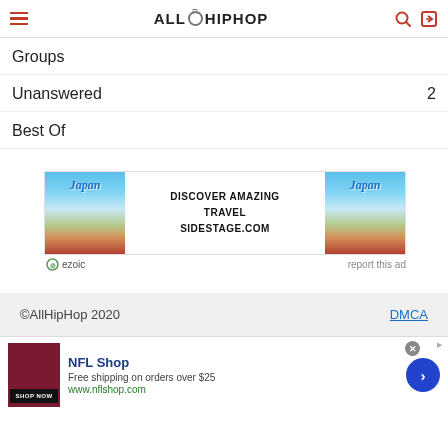AllHipHop
Groups
Unanswered  2
Best Of
[Figure (other): Advertisement banner for Japan travel - Discover Amazing Travel Sidestage.com, with ezoic label and report this ad link]
©AllHipHop 2020  DMCA
[Figure (other): Bottom advertisement bar for NFL Shop - Free shipping on orders over $25, www.nflshop.com, with Shop Now button and navigation arrow]